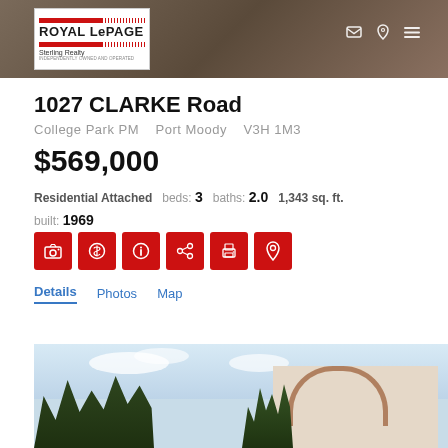[Figure (screenshot): Royal LePage Sterling Realty logo on header banner with navigation icons (email, phone, menu)]
1027 CLARKE Road
College Park PM   Port Moody   V3H 1M3
$569,000
Residential Attached  beds: 3  baths: 2.0  1,343 sq. ft.  built: 1969
[Figure (infographic): Six red icon buttons: camera, dollar sign, info, share, print, map pin]
Details   Photos   Map
[Figure (photo): Exterior photo of 1027 Clarke Road showing the building with trees and sky]